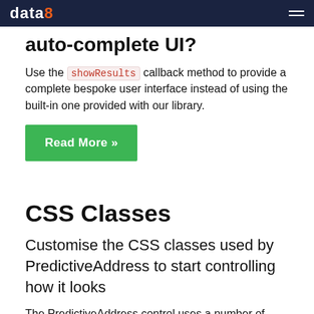data8 [logo] [navigation]
auto-complete UI?
Use the showResults callback method to provide a complete bespoke user interface instead of using the built-in one provided with our library.
Read More »
CSS Classes
Customise the CSS classes used by PredictiveAddress to start controlling how it looks
The PredictiveAddress control uses a number of CSS classes to control how it is displayed. Default settings for these are included in the standard